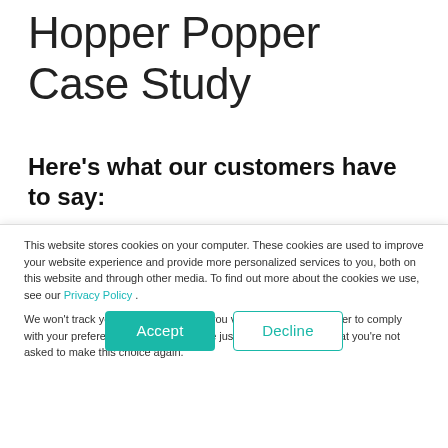Hopper Popper Case Study
Here's what our customers have to say:
“HydraForce has provided an outstanding solution for troubleshooting, telematics
This website stores cookies on your computer. These cookies are used to improve your website experience and provide more personalized services to you, both on this website and through other media. To find out more about the cookies we use, see our Privacy Policy .
We won’t track your information when you visit our site. But in order to comply with your preferences, we’ll have to use just one tiny cookie so that you’re not asked to make this choice again.